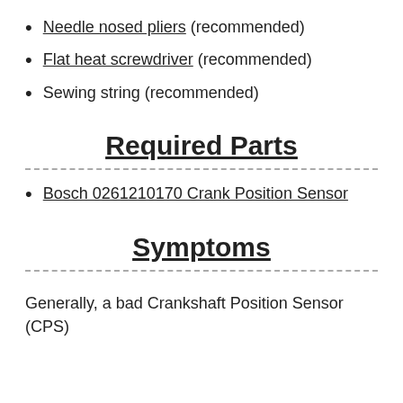Needle nosed pliers (recommended)
Flat heat screwdriver (recommended)
Sewing string (recommended)
Required Parts
Bosch 0261210170 Crank Position Sensor
Symptoms
Generally, a bad Crankshaft Position Sensor (CPS)